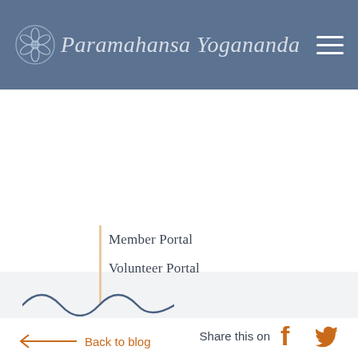Paramahansa Yogananda
Member Portal
Volunteer Portal
Back to blog
Share this on